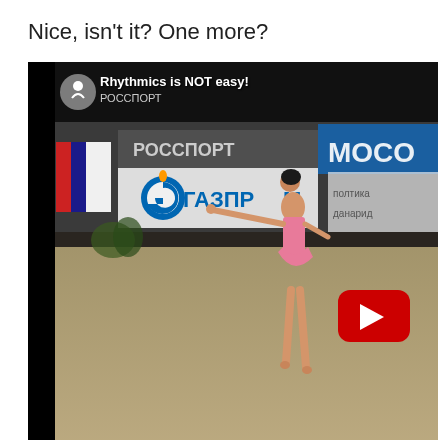Nice, isn't it? One more?
[Figure (screenshot): YouTube video thumbnail showing a rhythmic gymnastics performance. A gymnast in a pink leotard is performing on an arena floor with sponsor banners visible including Gazprom and Rossport. The video thumbnail shows the title 'Rhythmics is NOT easy!' with a channel icon. A red YouTube play button is overlaid on the thumbnail.]